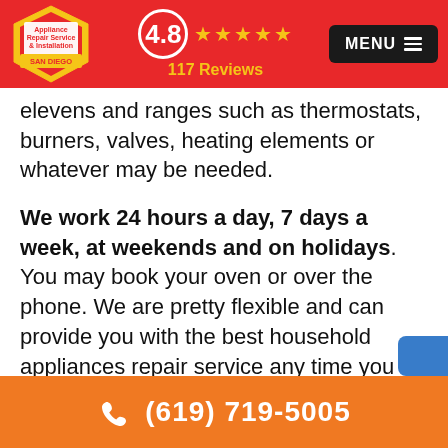Appliance Repair Service & Installation SAN DIEGO | 4.8 ★★★★★ 117 Reviews | MENU
ele[ctric o]vens and ranges such as thermostats, burners, valves, heating elements or whatever may be needed.
We work 24 hours a day, 7 days a week, at weekends and on holidays. You may book your oven or over the phone. We are pretty flexible and can provide you with the best household appliances repair service any time you need wherever you want us to come. In case of emergency, our technicians will be at your doorstep in 15 minutes after your call
(619) 719-5005